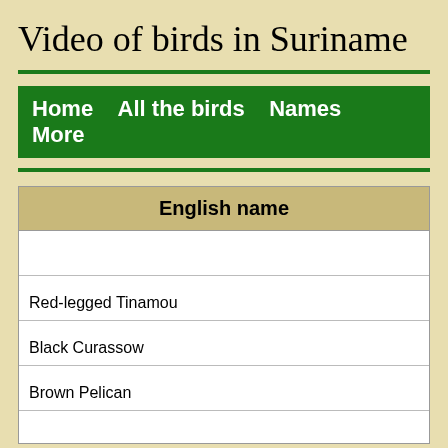Video of birds in Suriname
| English name |
| --- |
|  |
| Red-legged Tinamou |
| Black Curassow |
| Brown Pelican |
|  |